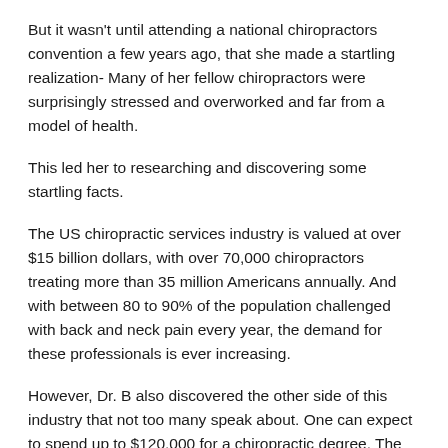But it wasn't until attending a national chiropractors convention a few years ago, that she made a startling realization- Many of her fellow chiropractors were surprisingly stressed and overworked and far from a model of health.
This led her to researching and discovering some startling facts.
The US chiropractic services industry is valued at over $15 billion dollars, with over 70,000 chiropractors treating more than 35 million Americans annually. And with between 80 to 90% of the population challenged with back and neck pain every year, the demand for these professionals is ever increasing.
However, Dr. B also discovered the other side of this industry that not too many speak about. One can expect to spend up to $120,000 for a chiropractic degree. The average chiropractic program requires at least 90 hours of previous undergraduate work to be accepted, and that's before you even start the Doctor of Chiropractic (DC) program, which